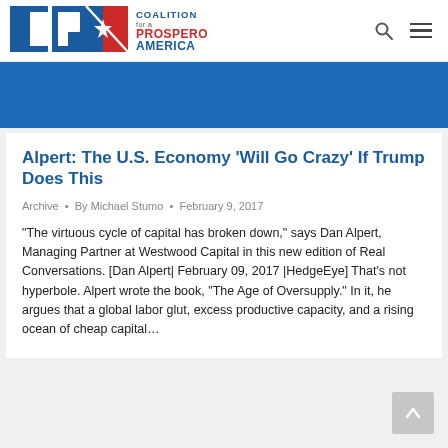Coalition for a Prosperous America
[Figure (illustration): Blue banner/hero image area]
Alpert: The U.S. Economy ‘Will Go Crazy’ If Trump Does This
Archive • By Michael Stumo • February 9, 2017
“The virtuous cycle of capital has broken down,” says Dan Alpert, Managing Partner at Westwood Capital in this new edition of Real Conversations. [Dan Alpert| February 09, 2017 |HedgeEye] That’s not hyperbole. Alpert wrote the book, “The Age of Oversupply.” In it, he argues that a global labor glut, excess productive capacity, and a rising ocean of cheap capital…